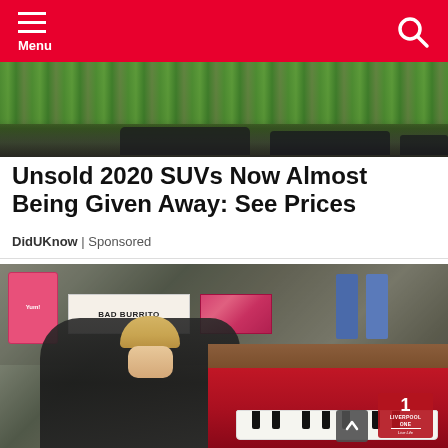Menu (navigation bar with hamburger menu and search icon)
[Figure (photo): Top portion of an outdoor scene showing parked cars and green shrubbery/grass]
Unsold 2020 SUVs Now Almost Being Given Away: See Prices
DidUKnow | Sponsored
[Figure (photo): A young blonde boy playing a red and wood upright piano outdoors in what appears to be Liverpool One shopping area. Signs for Bad Burrito and other shops visible in background. The piano is branded with Liverpool One logo.]